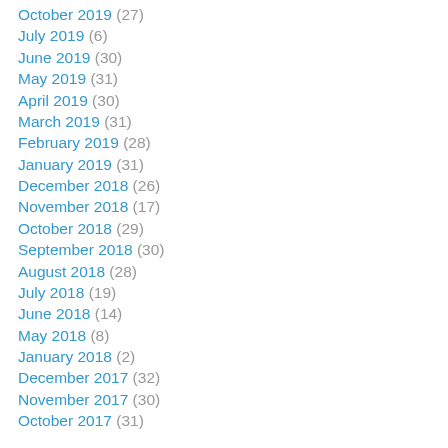October 2019 (27)
July 2019 (6)
June 2019 (30)
May 2019 (31)
April 2019 (30)
March 2019 (31)
February 2019 (28)
January 2019 (31)
December 2018 (26)
November 2018 (17)
October 2018 (29)
September 2018 (30)
August 2018 (28)
July 2018 (19)
June 2018 (14)
May 2018 (8)
January 2018 (2)
December 2017 (32)
November 2017 (30)
October 2017 (31)